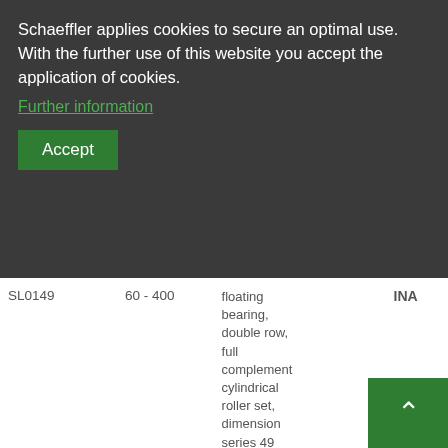Schaeffler applies cookies to secure an optimal use. With the further use of this website you accept the application of cookies.
Further information
Accept
| Model | Range | Description | Brand |
| --- | --- | --- | --- |
| SL0149 | 60 - 400 | floating bearing, double row, full complement cylindrical roller set, dimension series 49 | INA |
| SL0248 | 150 - 400 | non-locating bearing, double row, full complement cylindrical | INA |